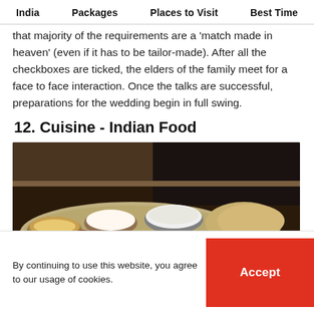India | Packages | Places to Visit | Best Time
that majority of the requirements are a 'match made in heaven' (even if it has to be tailor-made). After all the checkboxes are ticked, the elders of the family meet for a face to face interaction. Once the talks are successful, preparations for the wedding begin in full swing.
12. Cuisine - Indian Food
[Figure (photo): A photo of an Indian thali (meal platter) with multiple small bowls containing various dishes, served on a large round tray in a dimly lit setting.]
By continuing to use this website, you agree to our usage of cookies.